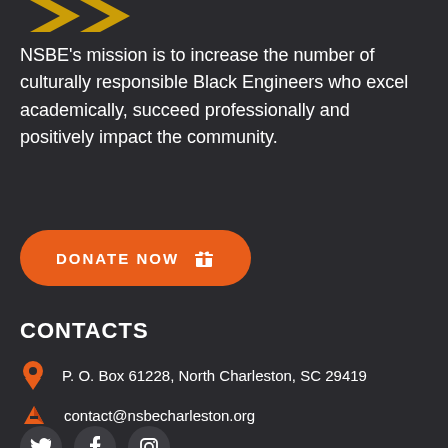[Figure (logo): Partial NSBE logo arrows visible at top of page]
NSBE's mission is to increase the number of culturally responsible Black Engineers who excel academically, succeed professionally and positively impact the community.
[Figure (other): Orange rounded rectangle donate button with text DONATE NOW and gift icon]
CONTACTS
P. O. Box 61228, North Charleston, SC 29419
contact@nsbecharleston.org
[Figure (other): Social media icons: Twitter, Facebook, Instagram in dark circle buttons]